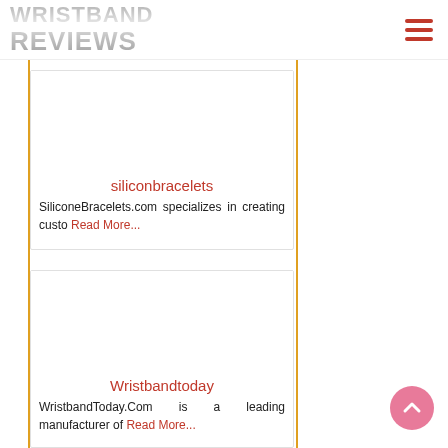WRISTBAND REVIEWS
siliconebracelets
SiliconeBracelets.com specializes in creating custo Read More...
Wristbandtoday
WristbandToday.Com is a leading manufacturer of Read More...